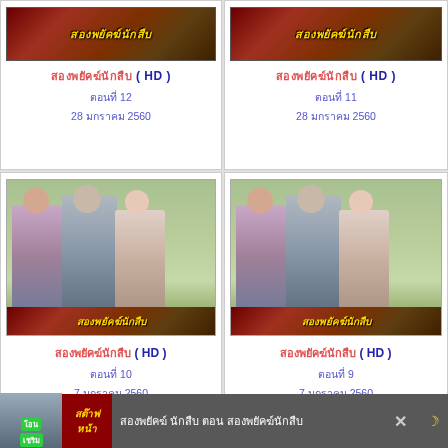[Figure (screenshot): Thai drama series webpage showing 4 episode cards in a 2x2 grid with Thai title text, HD labels, episode numbers and dates. Bottom ad banner visible.]
สองพยัคฆ์นักสืบ ( HD ) ตอนที่ 12 28 มกราคม 2560
สองพยัคฆ์นักสืบ ( HD ) ตอนที่ 11 28 มกราคม 2560
สองพยัคฆ์นักสืบ ( HD ) ตอนที่ 10 7 มกราคม 2560
สองพยัคฆ์นักสืบ ( HD ) ตอนที่ 9 7 มกราคม 2560